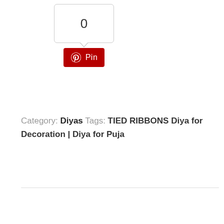[Figure (other): Pinterest Pin button widget with count bubble showing 0 and a red Pin button with Pinterest logo]
Category: Diyas Tags: TIED RIBBONS Diya for Decoration | Diya for Puja